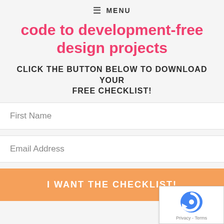≡ MENU
code to development-free design projects
CLICK THE BUTTON BELOW TO DOWNLOAD YOUR FREE CHECKLIST!
First Name
Email Address
I WANT THE CHECKLIST!
[Figure (other): reCAPTCHA widget with Privacy and Terms links]